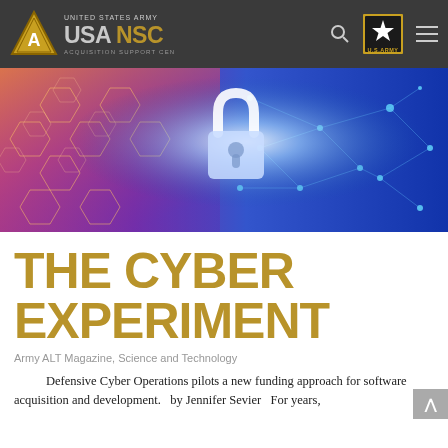[Figure (logo): USAASC (United States Army Acquisition Support Center) website header with triangle logo, USAASC logo text, search icon, U.S. Army star badge, and hamburger menu on dark grey background]
[Figure (photo): Cybersecurity themed hero image showing a glowing padlock in the center surrounded by a digital network grid, hexagonal shapes on the left in warm purple/orange tones, and blue digital network lines on the right with glowing nodes]
THE CYBER EXPERIMENT
Army ALT Magazine, Science and Technology
Defensive Cyber Operations pilots a new funding approach for software acquisition and development.   by Jennifer Sevier   For years,